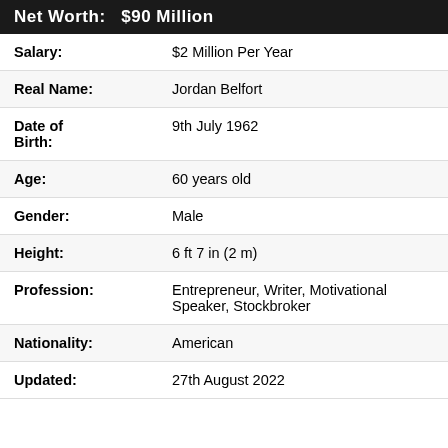| Field | Value |
| --- | --- |
| Net Worth: | $90 Million |
| Salary: | $2 Million Per Year |
| Real Name: | Jordan Belfort |
| Date of Birth: | 9th July 1962 |
| Age: | 60 years old |
| Gender: | Male |
| Height: | 6 ft 7 in (2 m) |
| Profession: | Entrepreneur, Writer, Motivational Speaker, Stockbroker |
| Nationality: | American |
| Updated: | 27th August 2022 |